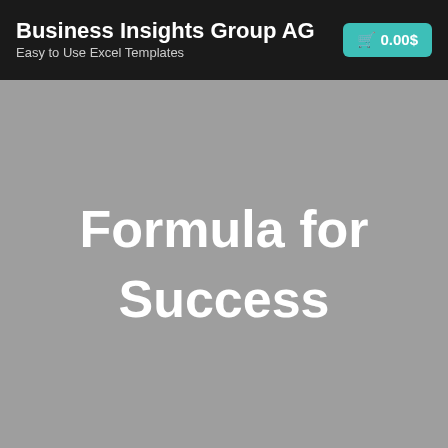Business Insights Group AG
Easy to Use Excel Templates
🛒 0.00$
Formula for Success